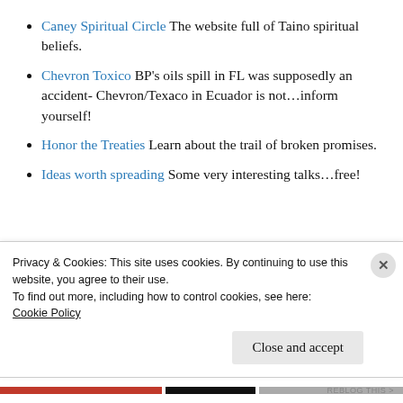Caney Spiritual Circle The website full of Taino spiritual beliefs.
Chevron Toxico BP's oils spill in FL was supposedly an accident- Chevron/Texaco in Ecuador is not...inform yourself!
Honor the Treaties Learn about the trail of broken promises.
Ideas worth spreading Some very interesting talks...free!
Privacy & Cookies: This site uses cookies. By continuing to use this website, you agree to their use.
To find out more, including how to control cookies, see here: Cookie Policy
Close and accept